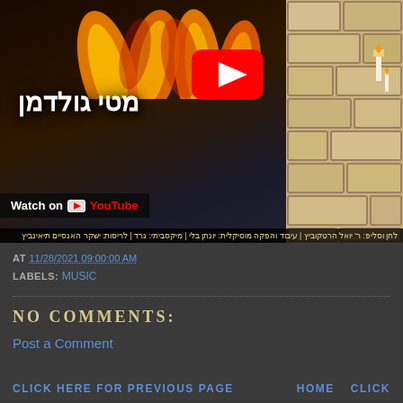[Figure (screenshot): YouTube video thumbnail showing Hebrew text (מטי גולדמן - Mati Goldman), fire/flames at top, stone wall on right, YouTube play button overlay, 'Watch on YouTube' bar, and Hebrew credits at bottom]
AT 11/28/2021 09:00:00 AM
LABELS: MUSIC
NO COMMENTS:
Post a Comment
CLICK HERE FOR PREVIOUS PAGE    HOME    CLICK